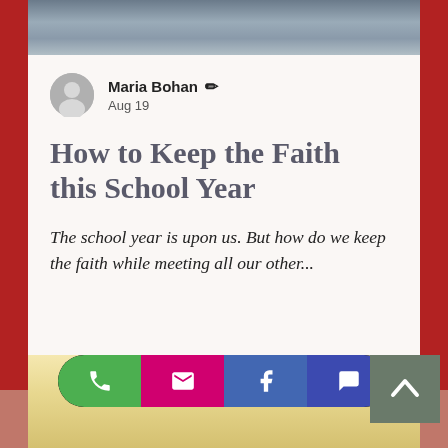[Figure (screenshot): Mobile app screenshot showing a blog post card with author info, title, excerpt, and action bar with phone, email, Facebook, and chat buttons on a red background.]
Maria Bohan ✎
Aug 19
How to Keep the Faith this School Year
The school year is upon us. But how do we keep the faith while meeting all our other...